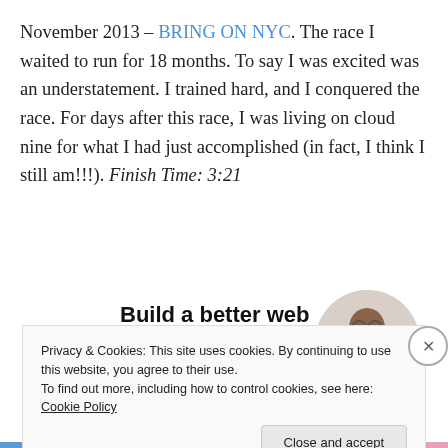November 2013 – BRING ON NYC. The race I waited to run for 18 months. To say I was excited was an understatement. I trained hard, and I conquered the race. For days after this race, I was living on cloud nine for what I had just accomplished (in fact, I think I still am!!!). Finish Time: 3:21
[Figure (screenshot): Advertisement banner: 'Build a better web and a better world.' with an Apply button and a photo of a person thinking.]
Privacy & Cookies: This site uses cookies. By continuing to use this website, you agree to their use.
To find out more, including how to control cookies, see here: Cookie Policy
Close and accept